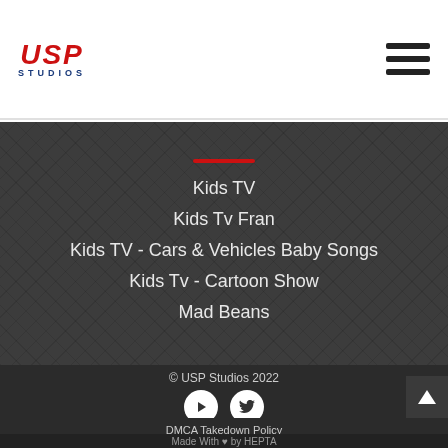USP Studios — navigation header with hamburger menu
Kids TV
Kids Tv Fran
Kids TV - Cars & Vehicles Baby Songs
Kids Tv - Cartoon Show
Mad Beans
© USP Studios 2022
Terms & Conditions    Privacy Policy
DMCA Takedown Policy
Made With ♥ by HEPTA